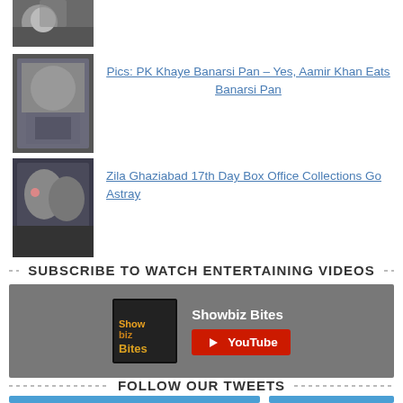[Figure (photo): Partial thumbnail of a man at top of page]
[Figure (photo): Thumbnail of Aamir Khan eating Banarsi Pan]
Pics: PK Khaye Banarsi Pan – Yes, Aamir Khan Eats Banarsi Pan
[Figure (photo): Thumbnail of couple from Zila Ghaziabad]
Zila Ghaziabad 17th Day Box Office Collections Go Astray
SUBSCRIBE TO WATCH ENTERTAINING VIDEOS
[Figure (logo): Showbiz Bites YouTube channel subscribe widget]
FOLLOW OUR TWEETS